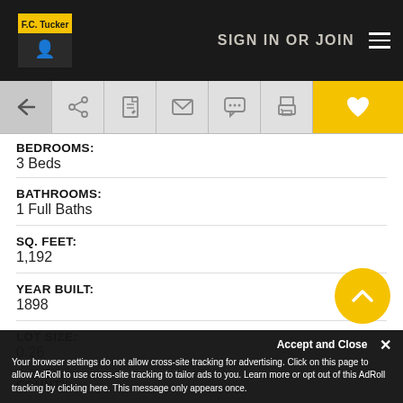F.C. Tucker — SIGN IN OR JOIN
[Figure (screenshot): Navigation toolbar with back arrow, share, edit, email, chat, print, and heart (favorite) icons]
BEDROOMS:
3 Beds
BATHROOMS:
1 Full Baths
SQ. FEET:
1,192
YEAR BUILT:
1898
LOT SIZE:
0.26
COUNTY:
Your browser settings do not allow cross-site tracking for advertising. Click on this page to allow AdRoll to use cross-site tracking to tailor ads to you. Learn more or opt out of this AdRoll tracking by clicking here. This message only appears once.